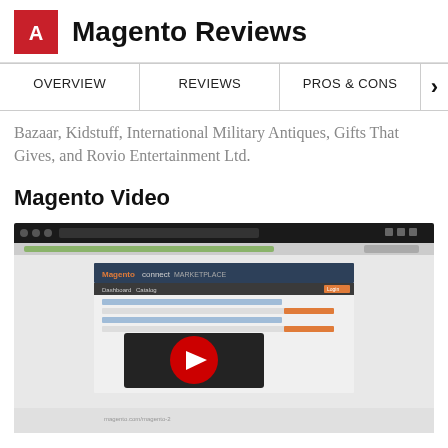Magento Reviews
Bazaar, Kidstuff, International Military Antiques, Gifts That Gives, and Rovio Entertainment Ltd.
Magento Video
[Figure (screenshot): A YouTube video embed showing a Magento admin interface screenshot with a red YouTube play button overlay in the center.]